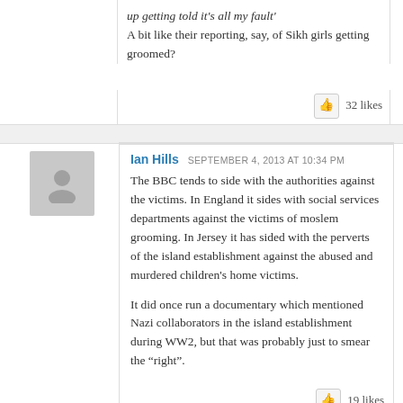up getting told it's all my fault' A bit like their reporting, say, of Sikh girls getting groomed?
32 likes
Ian Hills  SEPTEMBER 4, 2013 AT 10:34 PM
The BBC tends to side with the authorities against the victims. In England it sides with social services departments against the victims of moslem grooming. In Jersey it has sided with the perverts of the island establishment against the abused and murdered children's home victims.
It did once run a documentary which mentioned Nazi collaborators in the island establishment during WW2, but that was probably just to smear the “right”.
19 likes